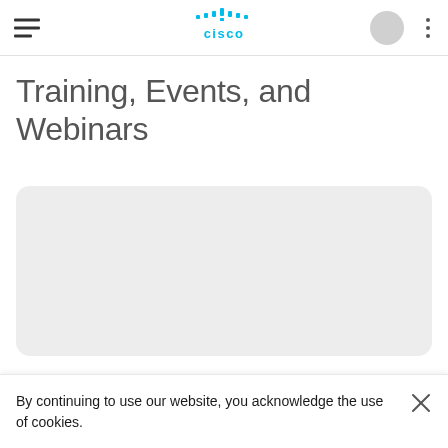Cisco — Training, Events, and Webinars — mobile navigation bar
Training, Events, and Webinars
[Figure (other): Light grey rounded rectangle placeholder card, empty content area]
By continuing to use our website, you acknowledge the use of cookies.